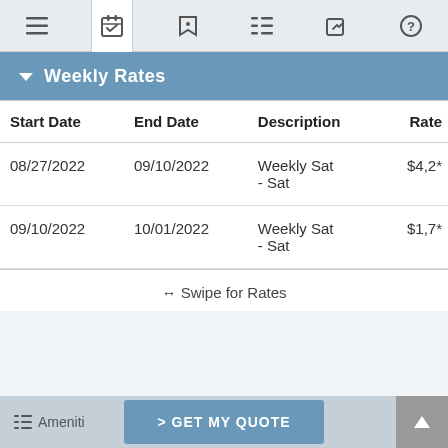Navigation bar with icons: menu, calendar, tag, list, edit, help
Weekly Rates
| Start Date | End Date | Description | Rate |
| --- | --- | --- | --- |
| 08/27/2022 | 09/10/2022 | Weekly Sat - Sat | $4,2* |
| 09/10/2022 | 10/01/2022 | Weekly Sat - Sat | $1,7* |
↔ Swipe for Rates
Amenities   > GET MY QUOTE   ▲